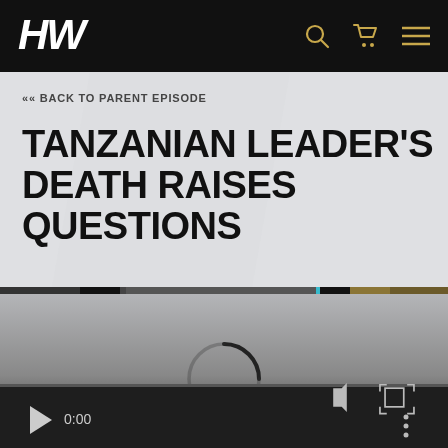HW (logo navigation bar with search, cart, and menu icons)
«« BACK TO PARENT EPISODE
TANZANIAN LEADER'S DEATH RAISES QUESTIONS
[Figure (screenshot): Video player in loading state showing a spinning loader icon, video controls bar with play button, time display 0:00, volume, fullscreen, and options icons, and a progress bar at the bottom]